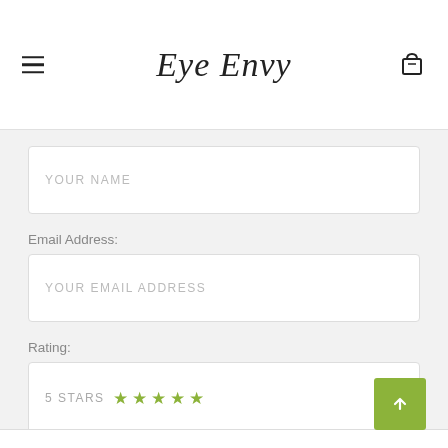Eye Envy
YOUR NAME
Email Address:
YOUR EMAIL ADDRESS
Rating:
5 STARS ★★★★★
Subject: